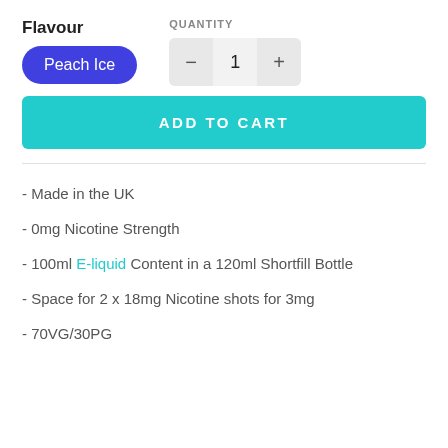Flavour
QUANTITY
Peach Ice
- 1 +
ADD TO CART
- Made in the UK
- 0mg Nicotine Strength
- 100ml E-liquid Content in a 120ml Shortfill Bottle
- Space for 2 x 18mg Nicotine shots for 3mg
- 70VG/30PG